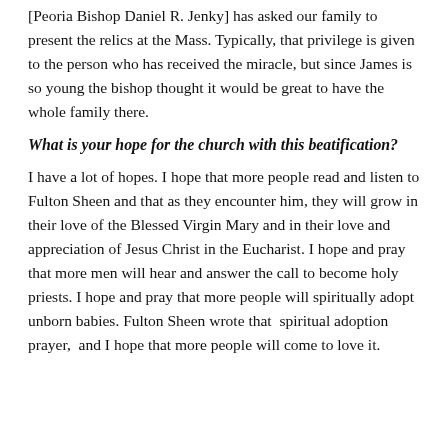[Peoria Bishop Daniel R. Jenky] has asked our family to present the relics at the Mass. Typically, that privilege is given to the person who has received the miracle, but since James is so young the bishop thought it would be great to have the whole family there.
What is your hope for the church with this beatification?
I have a lot of hopes. I hope that more people read and listen to Fulton Sheen and that as they encounter him, they will grow in their love of the Blessed Virgin Mary and in their love and appreciation of Jesus Christ in the Eucharist. I hope and pray that more men will hear and answer the call to become holy priests. I hope and pray that more people will spiritually adopt unborn babies. Fulton Sheen wrote that  spiritual adoption prayer,  and I hope that more people will come to love it.